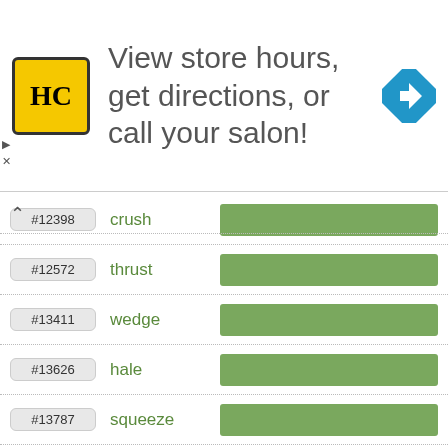[Figure (other): Advertisement banner for a hair salon locator app with HC logo, text 'View store hours, get directions, or call your salon!', and a navigation icon]
#12398 crush
#12572 thrust
#13411 wedge
#13626 hale
#13787 squeeze
#13972 hug
#15050 trays
#15543 zipper